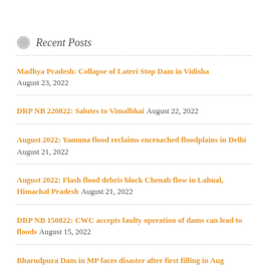Recent Posts
Madhya Pradesh: Collapse of Lateri Stop Dam in Vidisha August 23, 2022
DRP NB 220822: Salutes to Vimalbhai August 22, 2022
August 2022: Yamuna flood reclaims encroached floodplains in Delhi August 21, 2022
August 2022: Flash flood debris block Chenab flow in Lahual, Himachal Pradesh August 21, 2022
DRP NB 150822: CWC accepts faulty operation of dams can lead to floods August 15, 2022
Bharudpura Dam in MP faces disaster after first filling in Aug